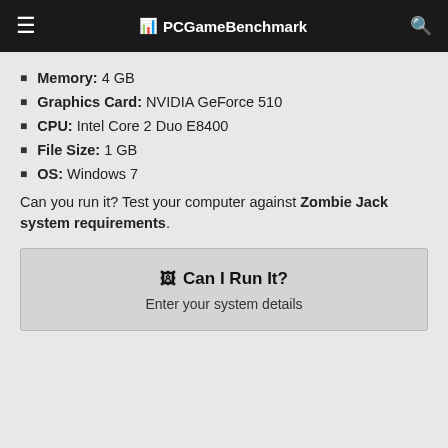PCGameBenchmark
Memory: 4 GB
Graphics Card: NVIDIA GeForce 510
CPU: Intel Core 2 Duo E8400
File Size: 1 GB
OS: Windows 7
Can you run it? Test your computer against Zombie Jack system requirements.
Can I Run It? Enter your system details